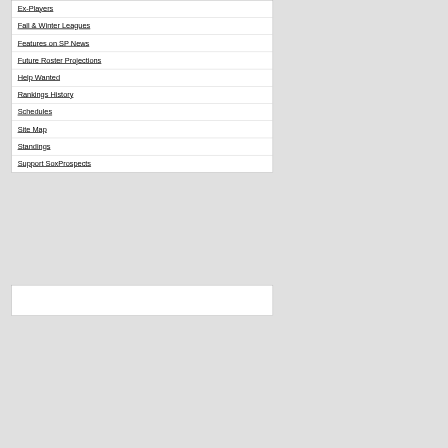Ex-Players
Fall & Winter Leagues
Features on SP News
Future Roster Projections
Help Wanted
Rankings History
Schedules
Site Map
Standings
Support SoxProspects